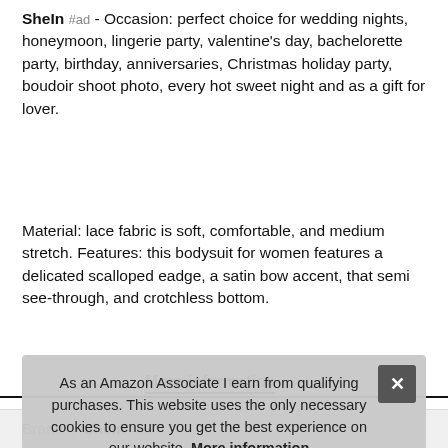Sheln #ad - Occasion: perfect choice for wedding nights, honeymoon, lingerie party, valentine's day, bachelorette party, birthday, anniversaries, Christmas holiday party, boudoir shoot photo, every hot sweet night and as a gift for lover.
Material: lace fabric is soft, comfortable, and medium stretch. Features: this bodysuit for women features a delicated scalloped eadge, a satin bow accent, that semi see-through, and crotchless bottom.
More information #ad
Size: please refer to the Size Measurements in the "product description"Not Amazon Size Chart. Style: special design gives you...
As an Amazon Associate I earn from qualifying purchases. This website uses the only necessary cookies to ensure you get the best experience on our website. More information
Brand | Sheln #ad